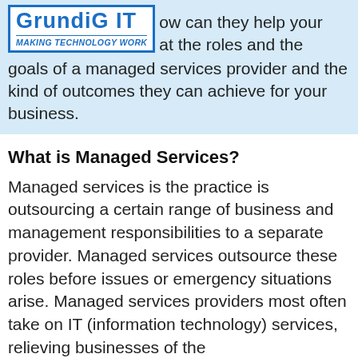[Figure (logo): GrundiG IT logo with tagline 'Making Technology Work' in a blue-bordered box]
ow can they help your at the roles and the goals of a managed services provider and the kind of outcomes they can achieve for your business.
What is Managed Services?
Managed services is the practice is outsourcing a certain range of business and management responsibilities to a separate provider. Managed services outsource these roles before issues or emergency situations arise. Managed services providers most often take on IT (information technology) services, relieving businesses of the...